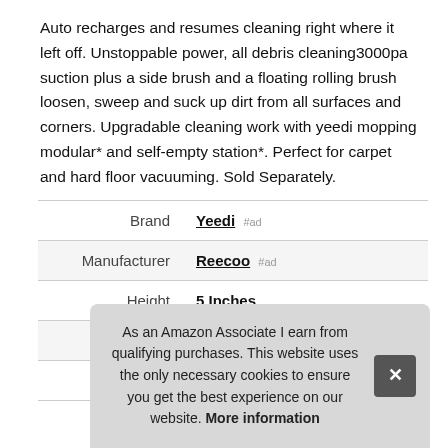Auto recharges and resumes cleaning right where it left off. Unstoppable power, all debris cleaning3000pa suction plus a side brush and a floating rolling brush loosen, sweep and suck up dirt from all surfaces and corners. Upgradable cleaning work with yeedi mopping modular* and self-empty station*. Perfect for carpet and hard floor vacuuming. Sold Separately.
|  |  |
| --- | --- |
| Brand | Yeedi #ad |
| Manufacturer | Reecoo #ad |
| Height | 5 Inches |
| Length | 19 Inches |
| P |  |
As an Amazon Associate I earn from qualifying purchases. This website uses the only necessary cookies to ensure you get the best experience on our website. More information